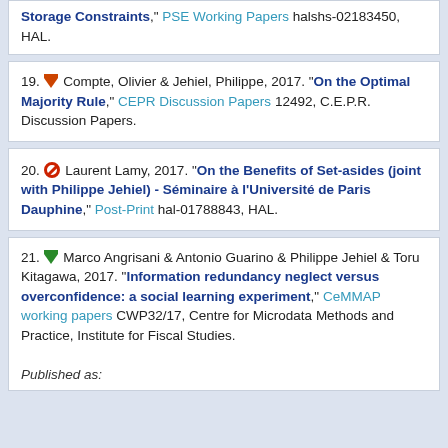Storage Constraints," PSE Working Papers halshs-02183450, HAL.
19. [download icon] Compte, Olivier & Jehiel, Philippe, 2017. "On the Optimal Majority Rule," CEPR Discussion Papers 12492, C.E.P.R. Discussion Papers.
20. [block icon] Laurent Lamy, 2017. "On the Benefits of Set-asides (joint with Philippe Jehiel) - Séminaire à l'Université de Paris Dauphine," Post-Print hal-01788843, HAL.
21. [download icon] Marco Angrisani & Antonio Guarino & Philippe Jehiel & Toru Kitagawa, 2017. "Information redundancy neglect versus overconfidence: a social learning experiment," CeMMAP working papers CWP32/17, Centre for Microdata Methods and Practice, Institute for Fiscal Studies.
Published as: